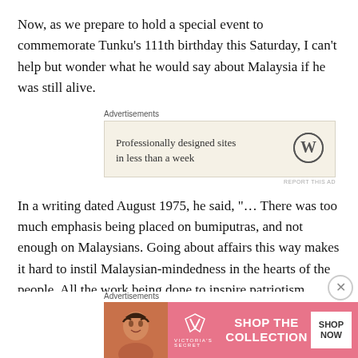Now, as we prepare to hold a special event to commemorate Tunku’s 111th birthday this Saturday, I can’t help but wonder what he would say about Malaysia if he was still alive.
[Figure (infographic): Advertisement block: WordPress ad with text 'Professionally designed sites in less than a week' and WordPress logo on beige background. Label 'Advertisements' above.]
In a writing dated August 1975, he said, “… There was too much emphasis being placed on bumiputras, and not enough on Malaysians. Going about affairs this way makes it hard to instil Malaysian-mindedness in the hearts of the people. All the work being done to inspire patriotism
[Figure (infographic): Bottom advertisement: Victoria's Secret ad with model photo, VS logo, 'SHOP THE COLLECTION' text, and 'SHOP NOW' button. Label 'Advertisements' above.]